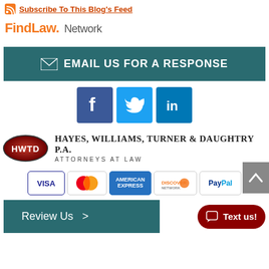Subscribe To This Blog's Feed
[Figure (logo): FindLaw Network logo with orange FindLaw text and gray Network text]
[Figure (infographic): Teal button with envelope icon and text: EMAIL US FOR A RESPONSE]
[Figure (infographic): Social media icons: Facebook (blue), Twitter (cyan), LinkedIn (dark blue)]
[Figure (logo): Hayes, Williams, Turner & Daughtry P.A. Attorneys at Law law firm logo with oval HWTD emblem]
[Figure (infographic): Payment method icons: Visa, MasterCard, American Express, Discover, PayPal]
[Figure (infographic): Teal Review Us button and dark red Text us! chat button]